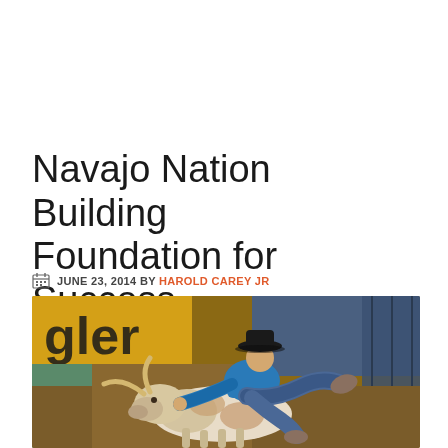Navajo Nation Building Foundation for Success
JUNE 23, 2014 BY HAROLD CAREY JR
[Figure (photo): A rodeo competitor in a blue shirt and black cowboy hat performing steer wrestling, gripping the horns of a white and brown steer and being thrown sideways at an indoor rodeo arena with yellow advertising banners in the background reading 'gler'.]